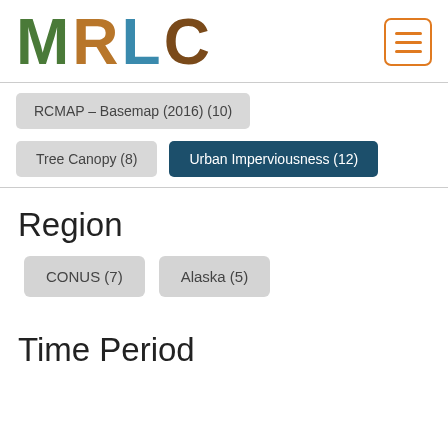MRLC
RCMAP – Basemap (2016) (10)
Tree Canopy (8)
Urban Imperviousness (12)
Region
CONUS (7)
Alaska (5)
Time Period